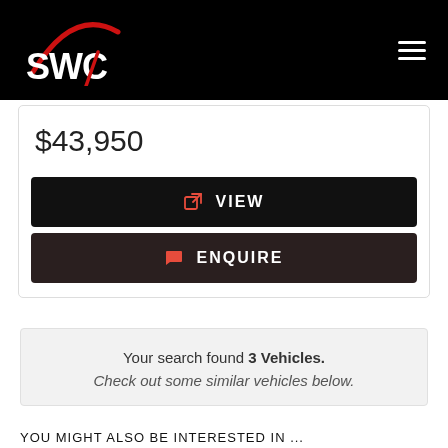[Figure (logo): SWC logo in white text with red arc on black background, hamburger menu icon top right]
$43,950
VIEW
ENQUIRE
Your search found 3 Vehicles. Check out some similar vehicles below.
YOU MIGHT ALSO BE INTERESTED IN ...
2018 Holden Special Vehicles Colorado RG MY18